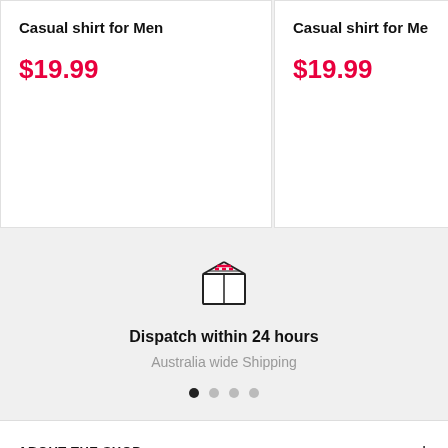Casual shirt for Men
$19.99
Casual shirt for Men
$19.99
[Figure (illustration): Box/package icon with red stripe lines on top, outline style]
Dispatch within 24 hours
Australia wide Shipping
ABOUT THE SHOP
MORE